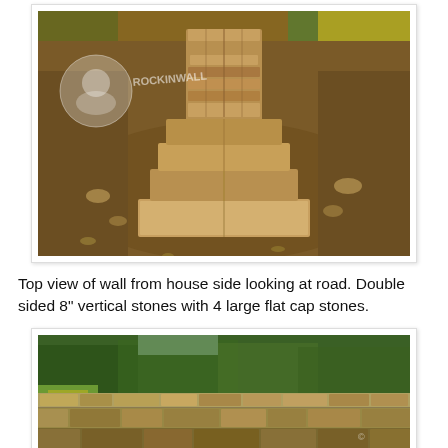[Figure (photo): Top view of a dry-stacked stone wall under construction, shot from above looking toward the road. Shows double-sided 8-inch vertical stones stacked in a row with 4 large flat cap stones on top, surrounded by bare dirt. A circular watermark with a person silhouette and 'ROCKINWALL' text is visible. Yellow flowers in the background.]
Top view of wall from house side looking at road. Double sided 8" vertical stones with 4 large flat cap stones.
[Figure (photo): Side view of a completed dry-stacked stone wall in a garden landscape. The wall is built from irregular fieldstones with a flat cap layer on top. Green trees and shrubs are visible in the background, with yellow wildflowers at the base. A small copyright watermark is present.]